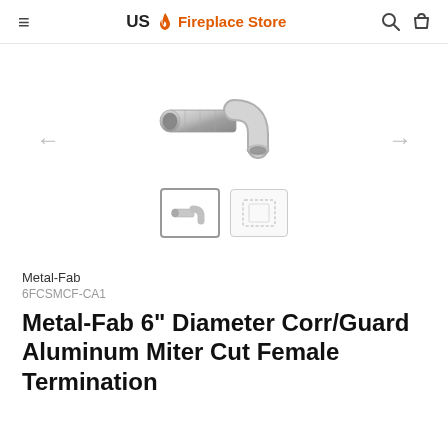US Fireplace Store
[Figure (photo): Product photo of Metal-Fab 6 inch Diameter Corr/Guard Aluminum Miter Cut Female Termination fitting, shown as a metallic elbow/connector piece. Two thumbnail images shown below: one active showing the product photo, one inactive showing a placeholder.]
Metal-Fab
6FCSMCF-CA1
Metal-Fab 6" Diameter Corr/Guard Aluminum Miter Cut Female Termination